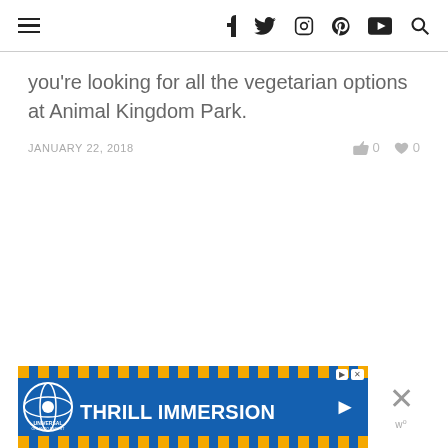Navigation bar with hamburger menu and social icons (f, Twitter, Instagram, Pinterest, YouTube, Search)
you’re looking for all the vegetarian options at Animal Kingdom Park.
JANUARY 22, 2018    0  0
[Figure (infographic): Universal Orlando Resort Thrill Immersion advertisement banner with blue background and yellow diagonal stripes]